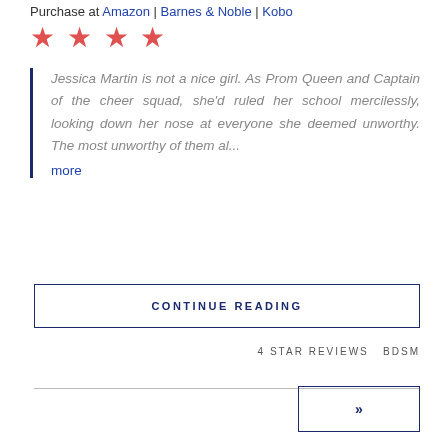Purchase at Amazon | Barnes & Noble | Kobo
[Figure (illustration): Four red star rating icons in a row]
Jessica Martin is not a nice girl. As Prom Queen and Captain of the cheer squad, she'd ruled her school mercilessly, looking down her nose at everyone she deemed unworthy. The most unworthy of them al... more
CONTINUE READING
4 STAR REVIEWS   BDSM
»